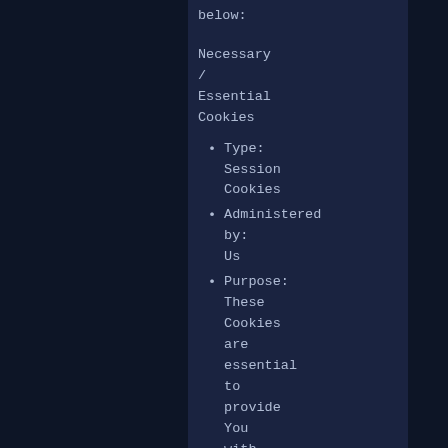below:
Necessary / Essential Cookies
Type: Session Cookies
Administered by: Us
Purpose: These Cookies are essential to provide You with